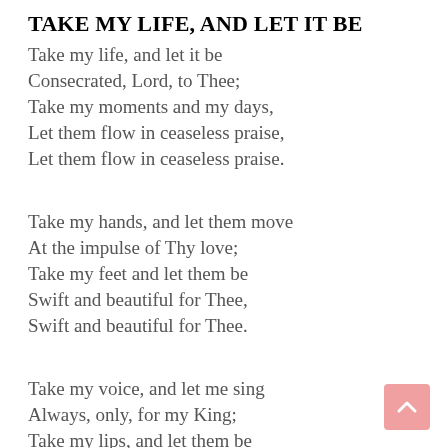TAKE MY LIFE, AND LET IT BE
Take my life, and let it be
Consecrated, Lord, to Thee;
Take my moments and my days,
Let them flow in ceaseless praise,
Let them flow in ceaseless praise.
Take my hands, and let them move
At the impulse of Thy love;
Take my feet and let them be
Swift and beautiful for Thee,
Swift and beautiful for Thee.
Take my voice, and let me sing
Always, only, for my King;
Take my lips, and let them be